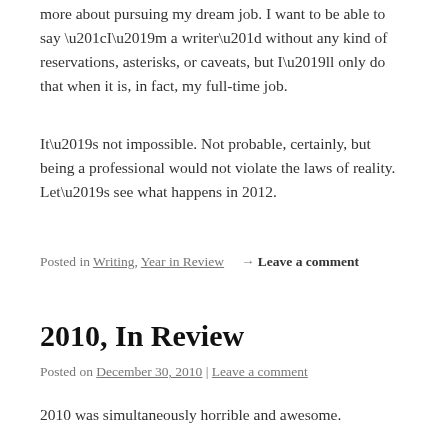more about pursuing my dream job. I want to be able to say “I’m a writer” without any kind of reservations, asterisks, or caveats, but I’ll only do that when it is, in fact, my full-time job.
It’s not impossible. Not probable, certainly, but being a professional would not violate the laws of reality. Let’s see what happens in 2012.
Posted in Writing, Year in Review → Leave a comment
2010, In Review
Posted on December 30, 2010 | Leave a comment
2010 was simultaneously horrible and awesome.